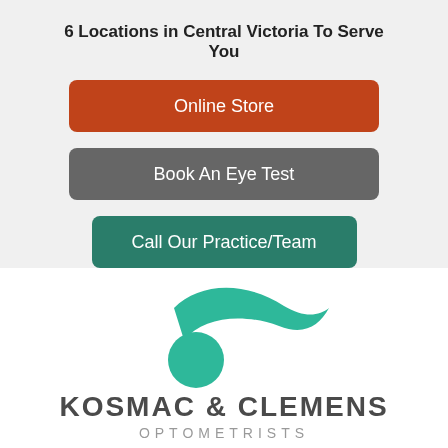6 Locations in Central Victoria To Serve You
Online Store
Book An Eye Test
Call Our Practice/Team
[Figure (logo): Kosmac & Clemens Optometrists logo — teal swoosh/wave shape above a teal circle, with text KOSMAC & CLEMENS OPTOMETRISTS below]